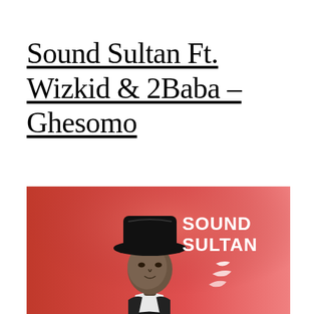Sound Sultan Ft. Wizkid & 2Baba – Ghesomo
[Figure (photo): Album artwork for Sound Sultan featuring a black and white photo of a man wearing a wide-brimmed black hat against a red gradient background, with white bold text reading 'SOUND SULTAN' in the upper right corner and white bird/feather motifs.]